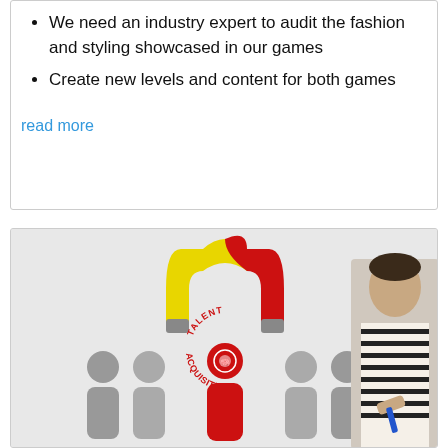We need an industry expert to audit the fashion and styling showcased in our games
Create new levels and content for both games
read more
[Figure (illustration): Talent acquisition illustration showing a horseshoe magnet (yellow and red) attracting a red highlighted person with a brain icon among grey silhouetted figures, alongside a young man in a striped sweater holding a blue marker]